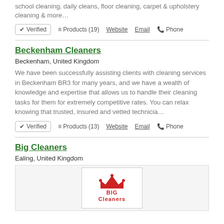school cleaning, daily cleans, floor cleaning, carpet & upholstery cleaning & more…
✔ Verified   ≡ Products (19)   🌐 Website   ✉ Email   📞 Phone
Beckenham Cleaners
Beckenham, United Kingdom
We have been successfully assisting clients with cleaning services in Beckenham BR3 for many years, and we have a wealth of knowledge and expertise that allows us to handle their cleaning tasks for them for extremely competitive rates. You can relax knowing that trusted, insured and vetted technicia…
✔ Verified   ≡ Products (13)   🌐 Website   ✉ Email   📞 Phone
Big Cleaners
Ealing, United Kingdom
[Figure (logo): Big Cleaners logo: red crown icon above text 'BIG Cleaners' in red on white background]